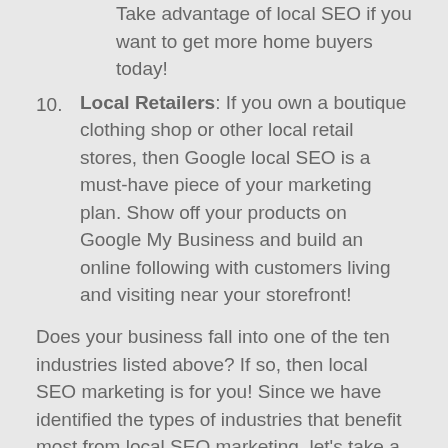Take advantage of local SEO if you want to get more home buyers today!
Local Retailers: If you own a boutique clothing shop or other local retail stores, then Google local SEO is a must-have piece of your marketing plan. Show off your products on Google My Business and build an online following with customers living and visiting near your storefront!
Does your business fall into one of the ten industries listed above? If so, then local SEO marketing is for you! Since we have identified the types of industries that benefit most from local SEO marketing, let's take a